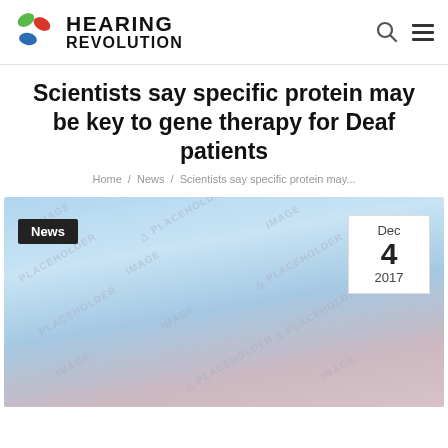HEARING REVOLUTION
Scientists say specific protein may be key to gene therapy for Deaf patients
Home / News / Scientists say specific protein may...
[Figure (photo): Image placeholder with News badge and date Dec 4 2017]